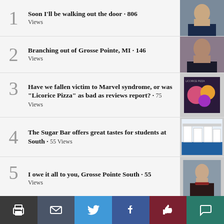1 · Soon I'll be walking out the door · 806 Views
2 · Branching out of Grosse Pointe, MI · 146 Views
3 · Have we fallen victim to Marvel syndrome, or was "Licorice Pizza" as bad as reviews report? · 75 Views
4 · The Sugar Bar offers great tastes for students at South · 55 Views
5 · I owe it all to you, Grosse Pointe South · 55 Views